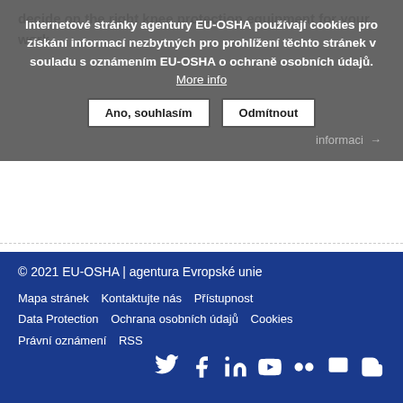decide on the right knee protection equipment for your work
Internetové stránky agentury EU-OSHA používají cookies pro získání informací nezbytných pro prohlížení těchto stránek v souladu s oznámením EU-OSHA o ochraně osobních údajů. More info
Ano, souhlasím | Odmítnout
1 2 3 › »
© 2021 EU-OSHA | agentura Evropské unie
Mapa stránek   Kontaktujte nás   Přístupnost
Data Protection   Ochrana osobních údajů   Cookies
Právní oznámení   RSS